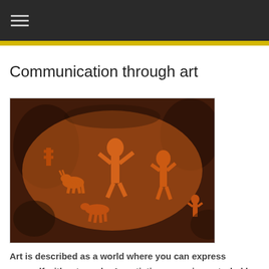≡
Communication through art
[Figure (photo): Ancient cave art / rock petroglyphs showing human and animal figures carved into dark reddish-brown stone. Central figure appears to be a large humanoid with raised arms surrounded by smaller animal figures including deer or goats, and other human-like figures.]
Art is described as a world where you can express yourself without words. An artistic person is controled by the most deep emotions that require to be honnesty and